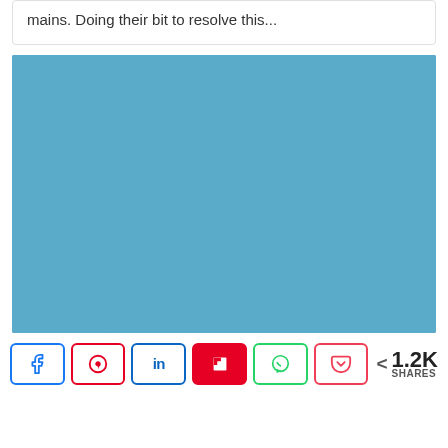mains. Doing their bit to resolve this...
[Figure (photo): A large blue/teal colored image placeholder area]
< 1.2K SHARES (with Facebook, Pinterest, LinkedIn, Flipboard, WhatsApp, Pocket share buttons)